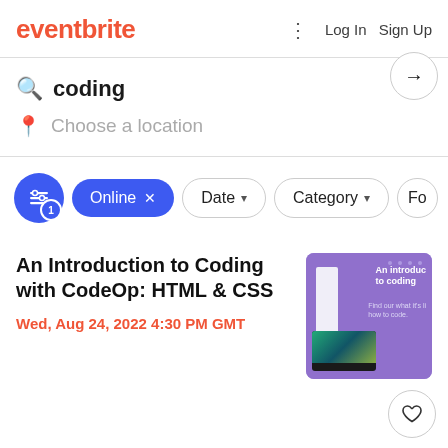eventbrite  Log In  Sign Up
coding  ×
Choose a location
Online ×  Date ↓  Category ↓  Fo
An Introduction to Coding with CodeOp: HTML & CSS
Wed, Aug 24, 2022 4:30 PM GMT
[Figure (illustration): Event thumbnail showing purple background with text 'An introduc to coding' and 'Find out what it's l how to code' with a laptop image]